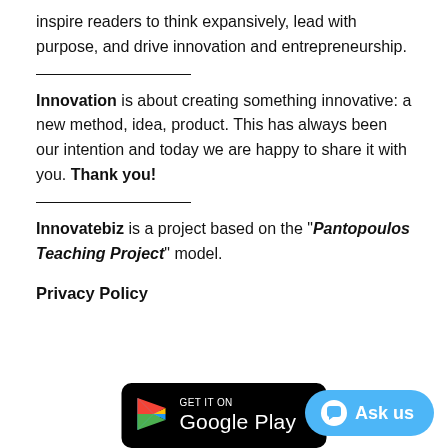inspire readers to think expansively, lead with purpose, and drive innovation and entrepreneurship.
Innovation is about creating something innovative: a new method, idea, product. This has always been our intention and today we are happy to share it with you. Thank you!
Innovatebiz is a project based on the “Pantopoulos Teaching Project” model.
Privacy Policy
[Figure (screenshot): Google Play store badge with 'GET IT ON Google Play' text on black rounded rectangle background]
[Figure (other): Teal 'Ask us' chat button with speech bubble icon]